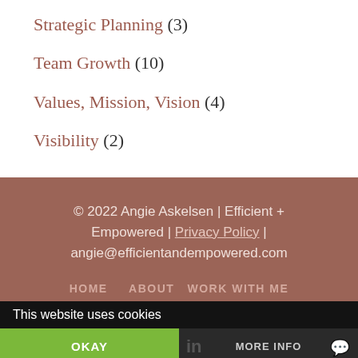Strategic Planning (3)
Team Growth (10)
Values, Mission, Vision (4)
Visibility (2)
© 2022 Angie Askelsen | Efficient + Empowered | Privacy Policy | angie@efficientandempowered.com
HOME   ABOUT   WORK WITH ME
This website uses cookies
OKAY
MORE INFO